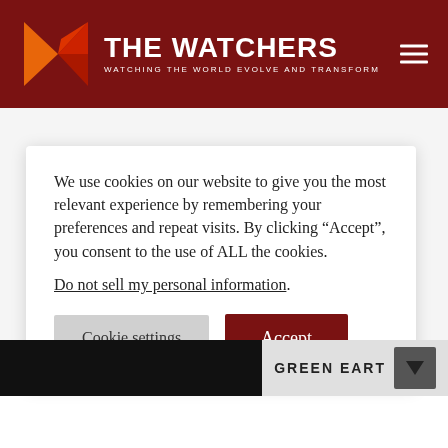THE WATCHERS — WATCHING THE WORLD EVOLVE AND TRANSFORM
We use cookies on our website to give you the most relevant experience by remembering your preferences and repeat visits. By clicking “Accept”, you consent to the use of ALL the cookies. Do not sell my personal information.
GREEN EARTH